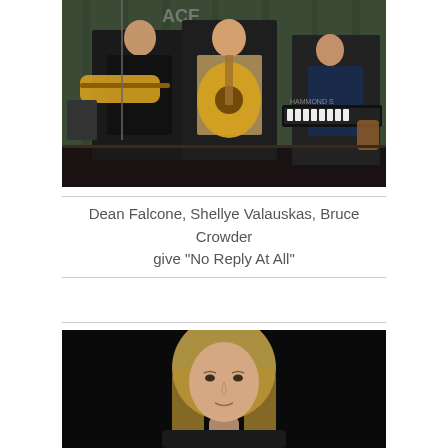[Figure (photo): Band performing on stage: two guitarists in front, one playing electric guitar and one playing acoustic guitar, with a keyboard player in the background at a Hammond keyboard. Dark green curtain backdrop.]
Dean Falcone, Shellye Valauskas, Bruce Crowder give "No Reply At All"
[Figure (photo): Close-up portrait of a blonde person against a dark/black background.]